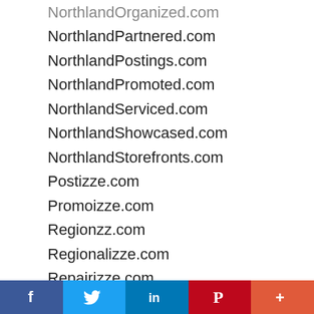NorthlandOrganized.com
NorthlandPartnered.com
NorthlandPostings.com
NorthlandPromoted.com
NorthlandServiced.com
NorthlandShowcased.com
NorthlandStorefronts.com
Postizze.com
Promoizze.com
Regionzz.com
Regionalizze.com
Repairizze.com
ShareBusinesses.com
SmallBusinessezz.com
Startupizze.com
Startupzz.com
Startzz.com
StateAnnounced.com
StateBrowsed.com
[Figure (infographic): Social share bar with Facebook, Twitter, LinkedIn, Pinterest, and More buttons]